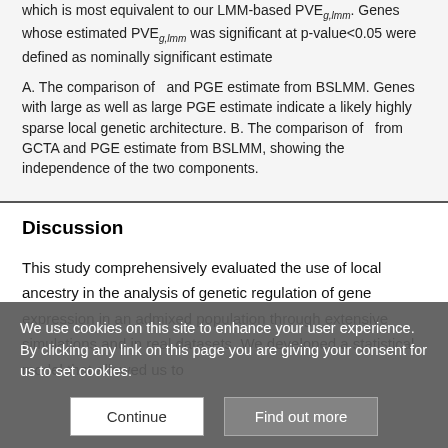which is most equivalent to our LMM-based PVEg,lmm. Genes whose estimated PVEg,lmm was significant at p-value<0.05 were defined as nominally significant estimate
A. The comparison of and PGE estimate from BSLMM. Genes with large as well as large PGE estimate indicate a likely highly sparse local genetic architecture. B. The comparison of from GCTA and PGE estimate from BSLMM, showing the independence of the two components.
Discussion
This study comprehensively evaluated the use of local ancestry in the analysis of genetic regulation of gene expression in an admixed population through extensive simulations and in real datasets. We developed a statistical model that allowed us to analytically formulate the relationship among local ancestry, the
We use cookies on this site to enhance your user experience. By clicking any link on this page you are giving your consent for us to set cookies.